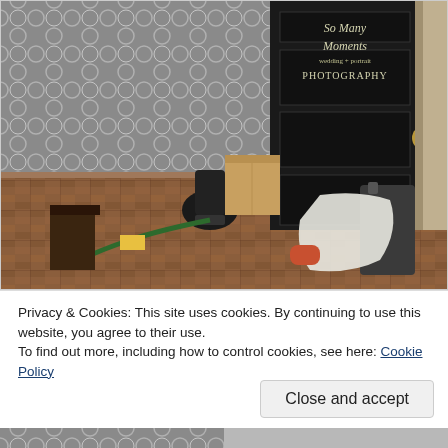[Figure (photo): Indoor room under renovation with patterned grey wallpaper, wooden parquet floor, a black door with chalk lettering reading 'So Many Moments wedding + portrait PHOTOGRAPHY', a gold door knob, vacuum cleaner, cardboard boxes, and various items on the floor.]
Privacy & Cookies: This site uses cookies. By continuing to use this website, you agree to their use.
To find out more, including how to control cookies, see here: Cookie Policy
Close and accept
[Figure (photo): Partial view of another room photo at the bottom of the page, cropped.]